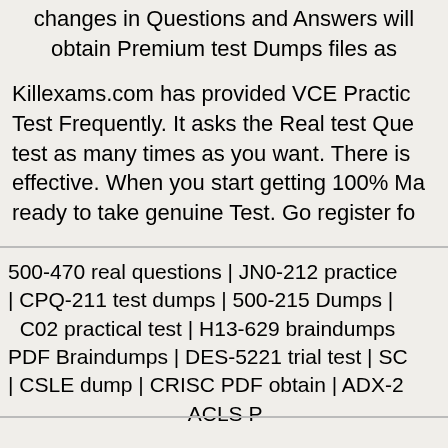changes in Questions and Answers will obtain Premium test Dumps files as
Killexams.com has provided VCE Practice Test Frequently. It asks the Real test Questions test as many times as you want. There is effective. When you start getting 100% Marks ready to take genuine Test. Go register for
500-470 real questions | JN0-212 practice | CPQ-211 test dumps | 500-215 Dumps | C02 practical test | H13-629 braindumps PDF Braindumps | DES-5221 trial test | SC | CSLE dump | CRISC PDF obtain | ADX-2 ACLS P